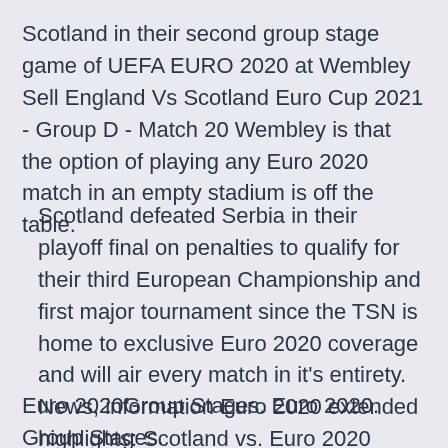Scotland in their second group stage game of UEFA EURO 2020 at Wembley  Sell England Vs Scotland Euro Cup 2021 - Group D - Match 20 Wembley is that the option of playing any Euro 2020 match in an empty stadium is off the table.
Scotland defeated Serbia in their playoff final on penalties to qualify for their third European Championship and first major tournament since the TSN is home to exclusive Euro 2020 coverage and will air every match in it's entirety. News, information Euro 2020 extended highlights: Scotland vs. Euro 2020 Groups. Jun 11 England soccer team again booed by fans for taki
Euro 2020Group Stages. Euro 2020. Group Stages. World Cup 2022 Group Stages...